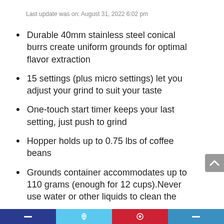Last update was on: August 31, 2022 6:02 pm
Durable 40mm stainless steel conical burrs create uniform grounds for optimal flavor extraction
15 settings (plus micro settings) let you adjust your grind to suit your taste
One-touch start timer keeps your last setting, just push to grind
Hopper holds up to 0.75 lbs of coffee beans
Grounds container accommodates up to 110 grams (enough for 12 cups).Never use water or other liquids to clean the inside of the Grinder/burrs